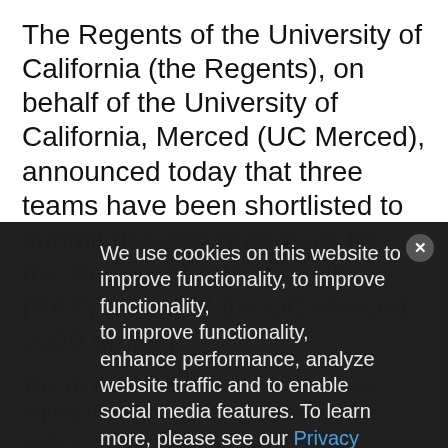The Regents of the University of California (the Regents), on behalf of the University of California, Merced (UC Merced), announced today that three teams have been shortlisted to submit detailed proposals for the Request for Proposals (RFP) phase of the UC Merced 2020 project.
The three shortlisted teams and their equity members are (in alphabetical order):
E3 2020: Balfour Beatty Investments, Inc.
LP 2 Developers: Edgemoor Infrastructure & Real Estate LLC, Plenary
We use cookies on this website to improve functionality, enhance performance, analyze website traffic and to enable social media features. To learn more, please see our Privacy Policy and our Terms & Conditions for additional detail.